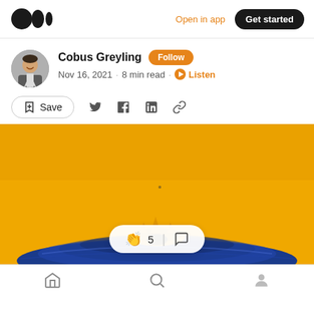Medium logo | Open in app | Get started
Cobus Greyling  Follow
Nov 16, 2021 · 8 min read · Listen
Save (share icons)
[Figure (photo): Yellow/gold background with blue and gold liquid drop ripple pattern, a water drop splash in center; reaction pill overlay showing clap (5) and comment icons]
Home | Search | Profile navigation icons